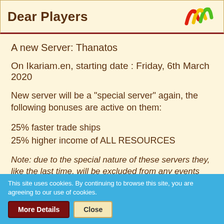Dear Players
A new Server: Thanatos
On Ikariam.en, starting date : Friday, 6th March 2020
New server will be a "special server" again, the following bonuses are active on them:
25% faster trade ships
25% higher income of ALL RESOURCES
Note: due to the special nature of these servers they, like the last time, will be excluded from any events
This site uses cookies. By continuing to browse this site, you are agreeing to our use of cookies.